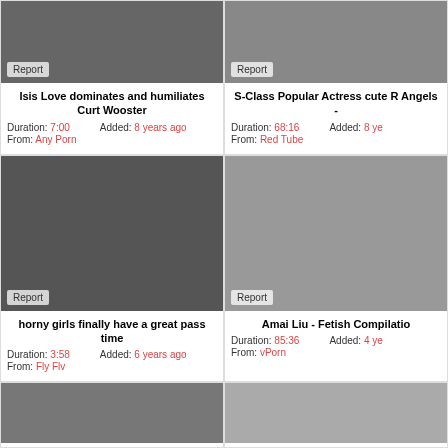[Figure (screenshot): Video thumbnail 1 - top left with Report badge]
Isis Love dominates and humiliates Curt Wooster
Duration: 7:00   Added: 8 years ago
From: Any Porn
[Figure (screenshot): Video thumbnail 2 - top right with Report badge]
S-Class Popular Actress cute R Angels -
Duration: 68:16   Added: 8 years ago
From: Red Tube
[Figure (screenshot): Video thumbnail 3 - middle left with Report badge]
horny girls finally have a great pass time
Duration: 3:58   Added: 6 years ago
From: Fly Flv
[Figure (screenshot): Video thumbnail 4 - middle right with Report badge]
Amai Liu - Fetish Compilatio
Duration: 85:36   Added: 4 years ago
From: vPorn
[Figure (screenshot): Video thumbnail 5 - bottom left]
[Figure (screenshot): Video thumbnail 6 - bottom right]